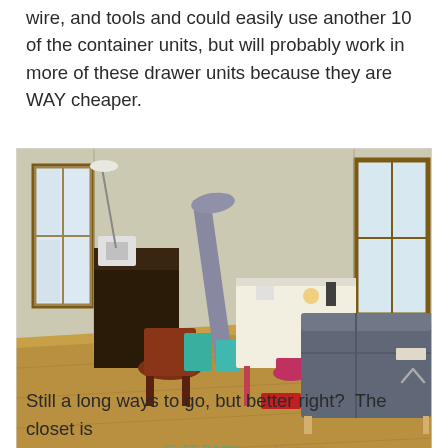wire, and tools and could easily use another 10 of the container units, but will probably work in more of these drawer units because they are WAY cheaper.
[Figure (photo): Interior room photo showing a craft/sewing room with hardwood floors, windows, a futon/sofa, work table with supplies, ironing board, teal storage boxes, and a desk with sewing machine. Watermark reads FLAT-PACK VINTAGE.]
Still a long ways to go, but better right?  The closet is